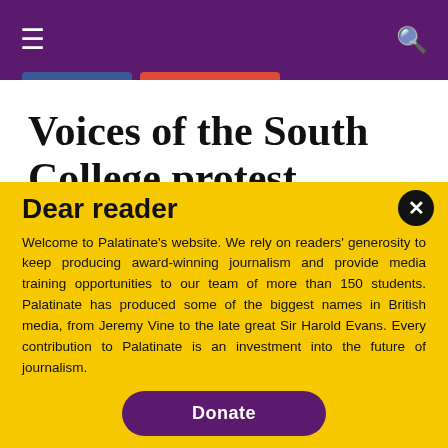≡   🔍
Voices of the South College protest
January 4, 2022
By Steph Ormond
On Wednesday 8th December 2021, Durham
Dear reader
Welcome to Palatinate's website. We rely on readers' generosity to keep producing award-winning journalism and provide media training opportunities to our team of more than 150 students. Palatinate has produced some of the biggest names in British media, from Jeremy Vine to the late great Sir Harold Evans. Every contribution to Palatinate is an investment into the future of journalism.
Donate